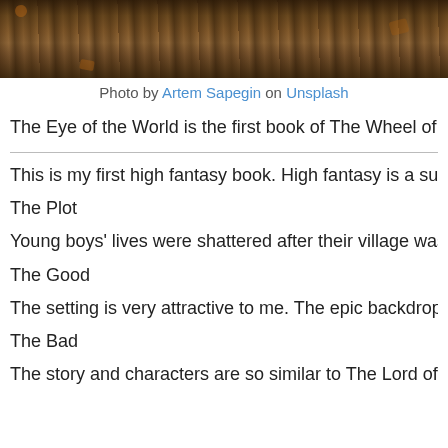[Figure (photo): Photo of wooden planks/dock with autumn leaves, dark brown tones]
Photo by Artem Sapegin on Unsplash
The Eye of the World is the first book of The Wheel of Time series.
This is my first high fantasy book. High fantasy is a subgenre of fa...
The Plot
Young boys' lives were shattered after their village was attacked by...
The Good
The setting is very attractive to me. The epic backdrop. The environ...
The Bad
The story and characters are so similar to The Lord of the Ring ser...